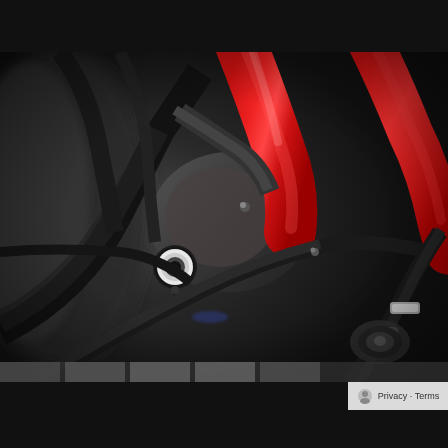[Figure (photo): Close-up photograph of motorcycle or automotive engine components. Shows black metal tubes, hoses, cables, and mechanical parts. A prominent bright circular sensor or gauge with concentric rings (white center) is visible in the lower-left area. Red intake tubes or hoses are visible in the upper-right portion. Various black cables, clamps, and engine casings fill the frame. The image has a shallow depth of field with blurred background elements.]
Privacy · Terms